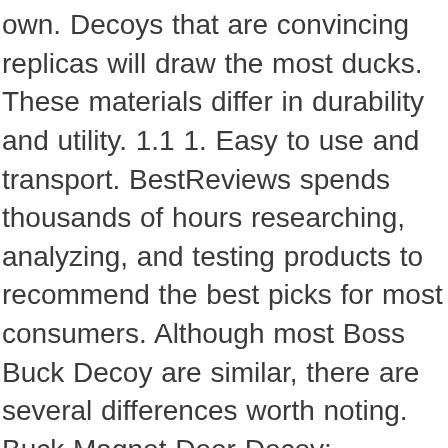own. Decoys that are convincing replicas will draw the most ducks. These materials differ in durability and utility. 1.1 1. Easy to use and transport. BestReviews spends thousands of hours researching, analyzing, and testing products to recommend the best picks for most consumers. Although most Boss Buck Decoy are similar, there are several differences worth noting. Buck Magnet Deer Decoy: Whitetail Deer Decoy with Swishing Tail, Use As Buck or Doe Decoy During the Rut, Lightweight, Portable, Easy to Setup, Works with Deer Calls and Estrus Scents 3.1 out of 5 stars 13 Some brands have come a long way in this department. Duck decoys float on the surface of the water, where they can be easily seen by ducks flying overhead. Although this is just a two-dimensional product, it has been shown to work well over time. These decoys usually have more realistic detail and higher-quality plastic. Increases the effectiveness of calls and scents. You can also search for specific features. Get the best of this short